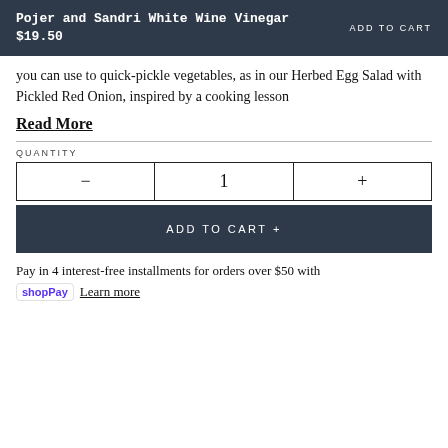Pojer and Sandri White Wine Vinegar
$19.50
you can use to quick-pickle vegetables, as in our Herbed Egg Salad with Pickled Red Onion, inspired by a cooking lesson
Read More
QUANTITY
- 1 +
ADD TO CART +
Pay in 4 interest-free installments for orders over $50 with
shopPay  Learn more